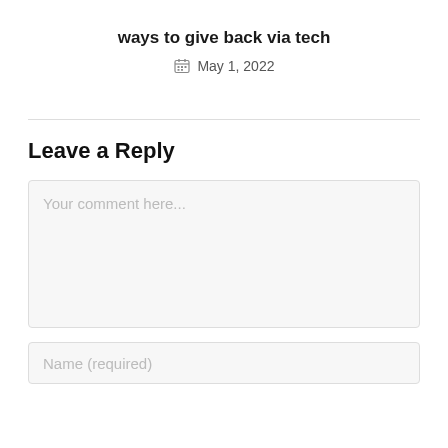ways to give back via tech
May 1, 2022
Leave a Reply
Your comment here...
Name (required)